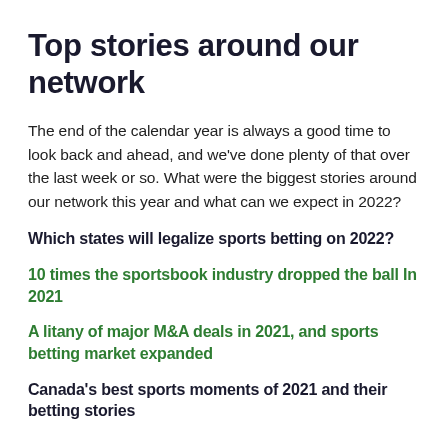Top stories around our network
The end of the calendar year is always a good time to look back and ahead, and we've done plenty of that over the last week or so. What were the biggest stories around our network this year and what can we expect in 2022?
Which states will legalize sports betting on 2022?
10 times the sportsbook industry dropped the ball In 2021
A litany of major M&A deals in 2021, and sports betting market expanded
Canada's best sports moments of 2021 and their betting stories